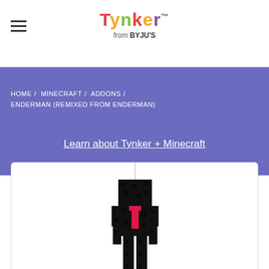Tynker from BYJU'S
HOME / MINECRAFT / ADDONS / ENDERMAN (REMIXED FROM ENDERMAN)
Learn about Tynker + Minecraft
[Figure (screenshot): 3D render of a Minecraft Enderman character in black with a pink/red accent T shape on its body, shown from the front with long legs, on a white background.]